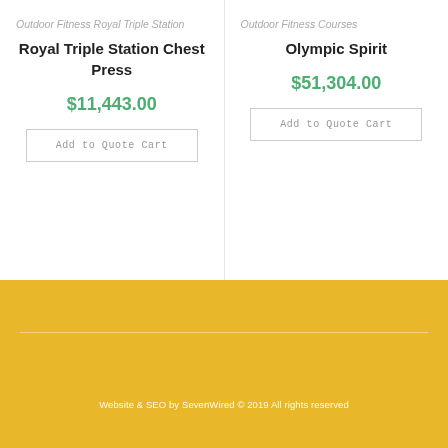Outdoor Fitness Royal Triple Station
Royal Triple Station Chest Press
$11,443.00
Add to Quote Cart
Outdoor Fitness Courses
Olympic Spirit
$51,304.00
Add to Quote Cart
Website & SEO by SevenWired © 2019 All rights reserved